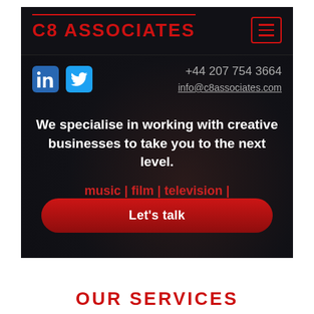[Figure (screenshot): Website screenshot for C8 Associates showing dark background with red logo, navigation menu button, social media icons (LinkedIn, Twitter), phone number +44 207 754 3664, email info@c8associates.com, tagline about specialising in creative businesses, industry tags (music, film, television, publishing, digital, media), and a red 'Let's talk' CTA button.]
OUR SERVICES